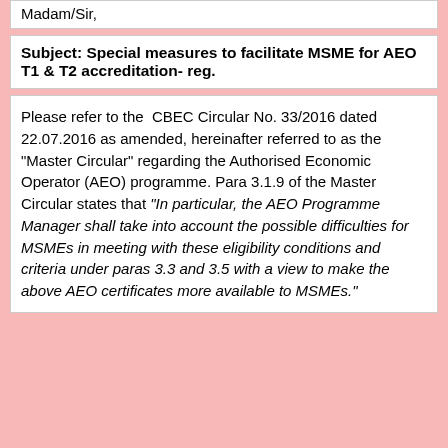Madam/Sir,
Subject: Special measures to facilitate MSME for AEO T1 & T2 accreditation- reg.
Please refer to the CBEC Circular No. 33/2016 dated 22.07.2016 as amended, hereinafter referred to as the "Master Circular" regarding the Authorised Economic Operator (AEO) programme. Para 3.1.9 of the Master Circular states that "In particular, the AEO Programme Manager shall take into account the possible difficulties for MSMEs in meeting with these eligibility conditions and criteria under paras 3.3 and 3.5 with a view to make the above AEO certificates more available to MSMEs."